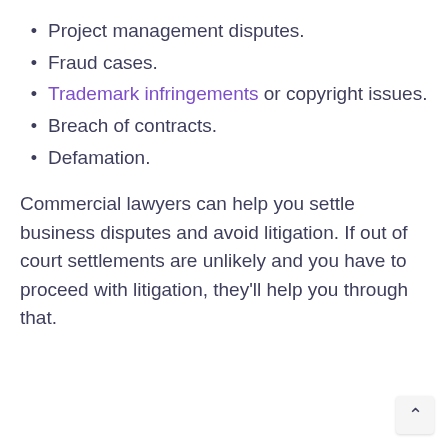Project management disputes.
Fraud cases.
Trademark infringements or copyright issues.
Breach of contracts.
Defamation.
Commercial lawyers can help you settle business disputes and avoid litigation. If out of court settlements are unlikely and you have to proceed with litigation, they'll help you through that.